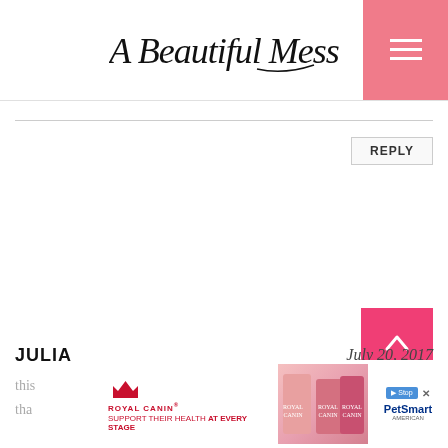A Beautiful Mess
REPLY
JULIA
July 20, 2017
this
tha
[Figure (other): Royal Canin advertisement banner: logo with crown, text SUPPORT THEIR HEALTH AT EVERY STAGE, cat food product images, PetSmart logo with play and close buttons]